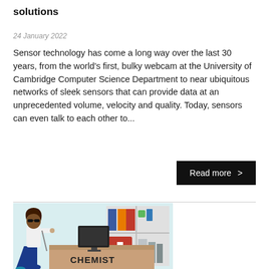solutions
24 January 2022
Sensor technology has come a long way over the last 30 years, from the world's first, bulky webcam at the University of Cambridge Computer Science Department to near ubiquitous networks of sleek sensors that can provide data at an unprecedented volume, velocity and quality. Today, sensors can even talk to each other to...
Read more >
[Figure (illustration): Illustration of a woman at a chemist counter with a computer monitor and shelves of supplies behind the desk. The desk has 'CHEMIST' written on the front.]